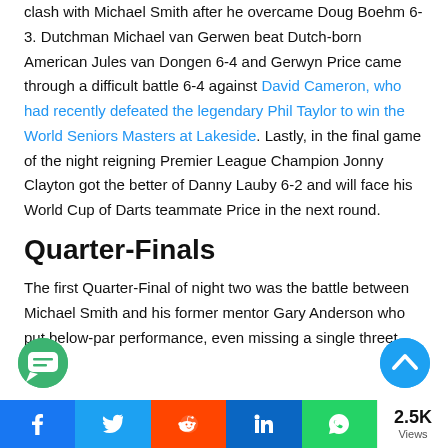clash with Michael Smith after he overcame Doug Boehm 6-3. Dutchman Michael van Gerwen beat Dutch-born American Jules van Dongen 6-4 and Gerwyn Price came through a difficult battle 6-4 against David Cameron, who had recently defeated the legendary Phil Taylor to win the World Seniors Masters at Lakeside. Lastly, in the final game of the night reigning Premier League Champion Jonny Clayton got the better of Danny Lauby 6-2 and will face his World Cup of Darts teammate Price in the next round.
Quarter-Finals
The first Quarter-Final of night two was the battle between Michael Smith and his former mentor Gary Anderson who put below-par performance, even missing a single three-et
[Figure (other): Social sharing bar with Facebook, Twitter, Reddit, LinkedIn, WhatsApp buttons and 2.5K views counter]